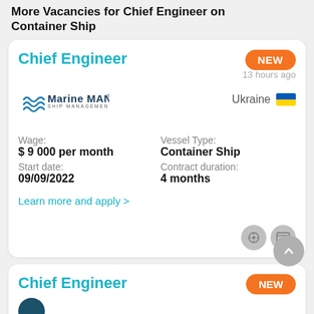More Vacancies for Chief Engineer on Container Ship
Chief Engineer
NEW
13 hours ago
[Figure (logo): Marine MAN Ship Management company logo with wave symbol]
Ukraine
Wage: $ 9 000 per month
Vessel Type: Container Ship
Start date: 09/09/2022
Contract duration: 4 months
Learn more and apply >
Chief Engineer
NEW
16 hours ago